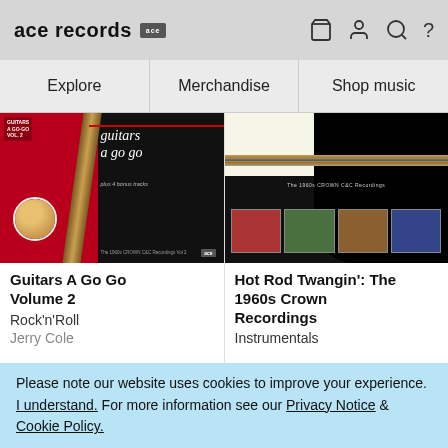ace records [ace logo] [basket icon] [user icon] [search icon] ?
Explore | Merchandise | Shop music
[Figure (photo): Album cover for Guitars A Go Go Volume 2 showing guitar and woman portrait on red and black background]
[Figure (photo): Album cover for Hot Rod Twangin': The 1960s Crown Recordings showing guitars and four mini album covers]
Guitars A Go Go Volume 2
Rock'n'Roll
Jerry Cole
Hot Rod Twangin': The 1960s Crown Recordings
Instrumentals
Please note our website uses cookies to improve your experience. I understand. For more information see our Privacy Notice & Cookie Policy.